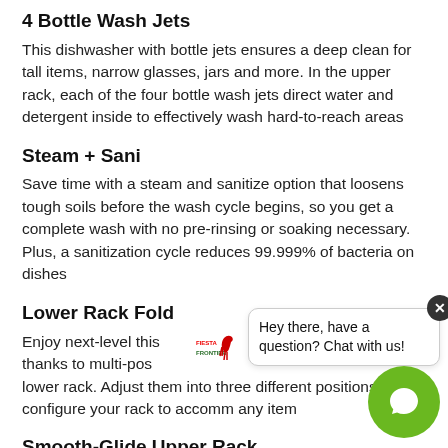4 Bottle Wash Jets
This dishwasher with bottle jets ensures a deep clean for tall items, narrow glasses, jars and more. In the upper rack, each of the four bottle wash jets direct water and detergent inside to effectively wash hard-to-reach areas
Steam + Sani
Save time with a steam and sanitize option that loosens tough soils before the wash cycle begins, so you get a complete wash with no pre-rinsing or soaking necessary. Plus, a sanitization cycle reduces 99.999% of bacteria on dishes
Lower Rack Fold
Enjoy next-level this thanks to multi-pos lower rack. Adjust them into three different positions and configure your rack to accomm any item
Smooth-Glide Upper Rack
This dishwasher full-extension upper rack makes
[Figure (other): Chat popup overlay with Fiesta Frontier logo, message 'Hey there, have a question? Chat with us!', close button, and green chat circle button with speech bubble icon.]